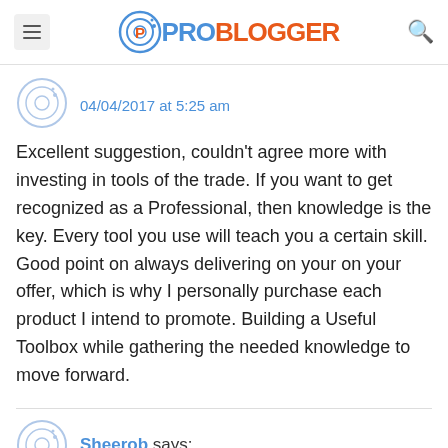ProBlogger
04/04/2017 at 5:25 am
Excellent suggestion, couldn't agree more with investing in tools of the trade. If you want to get recognized as a Professional, then knowledge is the key. Every tool you use will teach you a certain skill. Good point on always delivering on your on your offer, which is why I personally purchase each product I intend to promote. Building a Useful Toolbox while gathering the needed knowledge to move forward.
Sheerob says: